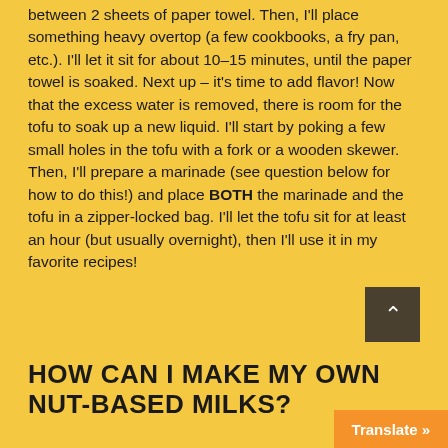between 2 sheets of paper towel. Then, I'll place something heavy overtop (a few cookbooks, a fry pan, etc.). I'll let it sit for about 10–15 minutes, until the paper towel is soaked. Next up – it's time to add flavor! Now that the excess water is removed, there is room for the tofu to soak up a new liquid. I'll start by poking a few small holes in the tofu with a fork or a wooden skewer. Then, I'll prepare a marinade (see question below for how to do this!) and place BOTH the marinade and the tofu in a zipper-locked bag. I'll let the tofu sit for at least an hour (but usually overnight), then I'll use it in my favorite recipes!
HOW CAN I MAKE MY OWN NUT-BASED MILKS?